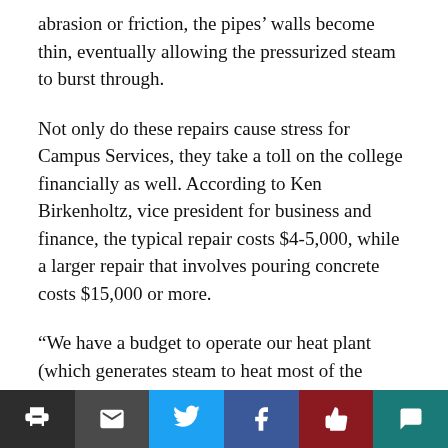abrasion or friction, the pipes’ walls become thin, eventually allowing the pressurized steam to burst through.
Not only do these repairs cause stress for Campus Services, they take a toll on the college financially as well. According to Ken Birkenholtz, vice president for business and finance, the typical repair costs $4-5,000, while a larger repair that involves pouring concrete costs $15,000 or more.
“We have a budget to operate our heat plant (which generates steam to heat most of the college’s buildings) that has $50,000 in it for repairs,” Birkenholtz said. “We’re definitely going to go over our budget for steam leak repairs this year, but the good news is (the cost of) gas is not where it’s been in past years so we’re going to have savings in the gas budget and will still be within those two budgets.”